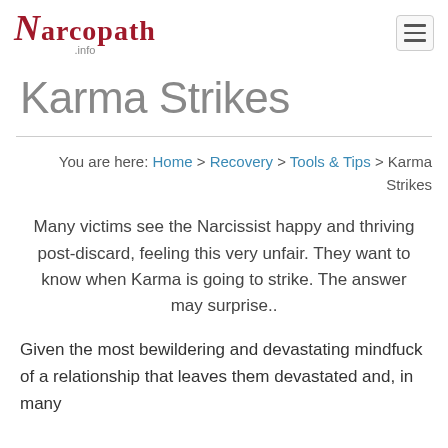Narcopath .info
Karma Strikes
You are here: Home > Recovery > Tools & Tips > Karma Strikes
Many victims see the Narcissist happy and thriving post-discard, feeling this very unfair. They want to know when Karma is going to strike. The answer may surprise..
Given the most bewildering and devastating mindfuck of a relationship that leaves them devastated and, in many